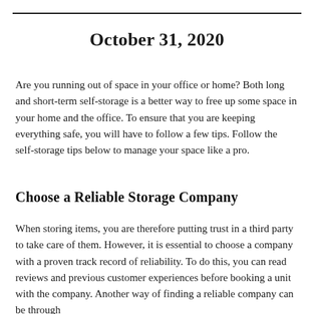October 31, 2020
Are you running out of space in your office or home? Both long and short-term self-storage is a better way to free up some space in your home and the office. To ensure that you are keeping everything safe, you will have to follow a few tips. Follow the self-storage tips below to manage your space like a pro.
Choose a Reliable Storage Company
When storing items, you are therefore putting trust in a third party to take care of them. However, it is essential to choose a company with a proven track record of reliability. To do this, you can read reviews and previous customer experiences before booking a unit with the company. Another way of finding a reliable company can be through